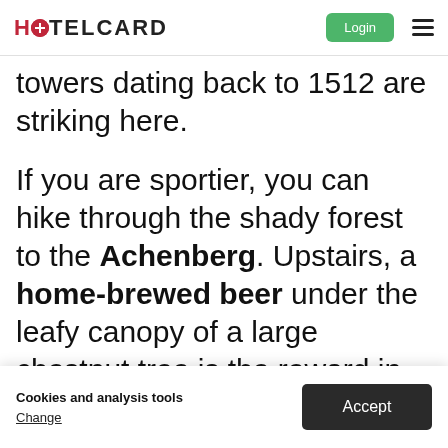HOTELCARD — Login
towers dating back to 1512 are striking here.
If you are sportier, you can hike through the shady forest to the Achenberg. Upstairs, a home-brewed beer under the leafy canopy of a large chestnut tree is the reward in the inn.
On the Kindhil...
Cookies and analysis tools
Change
Accept
treasures to offer besides the spa!